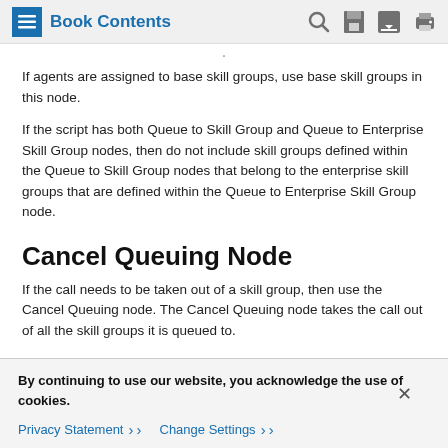Book Contents
If agents are assigned to base skill groups, use base skill groups in this node.
If the script has both Queue to Skill Group and Queue to Enterprise Skill Group nodes, then do not include skill groups defined within the Queue to Skill Group nodes that belong to the enterprise skill groups that are defined within the Queue to Enterprise Skill Group node.
Cancel Queuing Node
If the call needs to be taken out of a skill group, then use the Cancel Queuing node. The Cancel Queuing node takes the call out of all the skill groups it is queued to.
By continuing to use our website, you acknowledge the use of cookies.
Privacy Statement  Change Settings